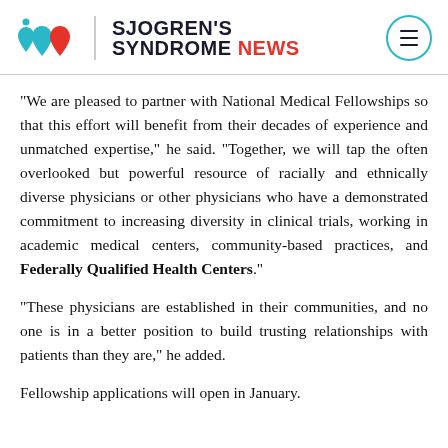SJOGREN'S SYNDROME NEWS
“We are pleased to partner with National Medical Fellowships so that this effort will benefit from their decades of experience and unmatched expertise,” he said. “Together, we will tap the often overlooked but powerful resource of racially and ethnically diverse physicians or other physicians who have a demonstrated commitment to increasing diversity in clinical trials, working in academic medical centers, community-based practices, and Federally Qualified Health Centers.”
“These physicians are established in their communities, and no one is in a better position to build trusting relationships with patients than they are,” he added.
Fellowship applications will open in January.